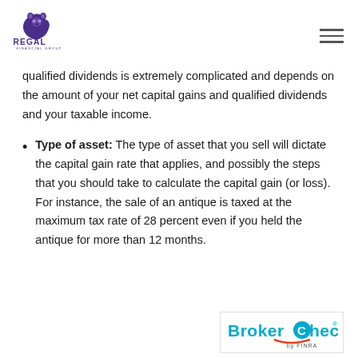REGAL FINANCIAL GROUP
qualified dividends is extremely complicated and depends on the amount of your net capital gains and qualified dividends and your taxable income.
Type of asset: The type of asset that you sell will dictate the capital gain rate that applies, and possibly the steps that you should take to calculate the capital gain (or loss). For instance, the sale of an antique is taxed at the maximum tax rate of 28 percent even if you held the antique for more than 12 months.
[Figure (logo): BrokerCheck by FINRA logo]